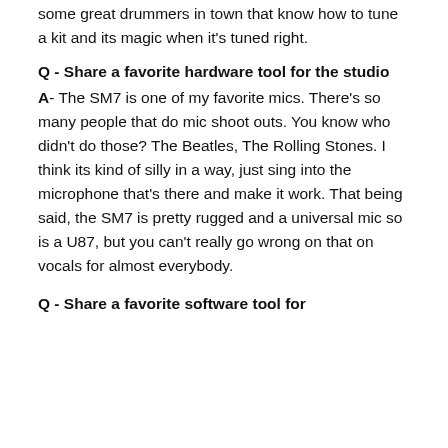some great drummers in town that know how to tune a kit and its magic when it's tuned right.
Q - Share a favorite hardware tool for the studio
A- The SM7 is one of my favorite mics. There's so many people that do mic shoot outs. You know who didn't do those? The Beatles, The Rolling Stones. I think its kind of silly in a way, just sing into the microphone that's there and make it work. That being said, the SM7 is pretty rugged and a universal mic so is a U87, but you can't really go wrong on that on vocals for almost everybody.
Q - Share a favorite software tool for